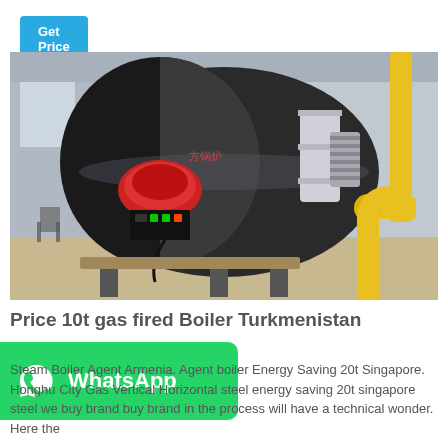Get Price
[Figure (photo): Industrial gas/oil fired steam boiler in a factory setting. Large cylindrical horizontal boiler with a red burner head, control panel, silver exhaust ducting, and yellow gas pipes visible on the right side.]
Price 10t gas fired Boiler Turkmenistan
[Figure (logo): WhatsApp logo and label on green background]
Steam Boiler Agent Armenia. Agent boiler Energy Saving 20t Singapore. Honghu City Gas Vertical Horizontal steel energy saving 20t singapore steel we buy brand buy brand in the process will have a technical wonder. Here the